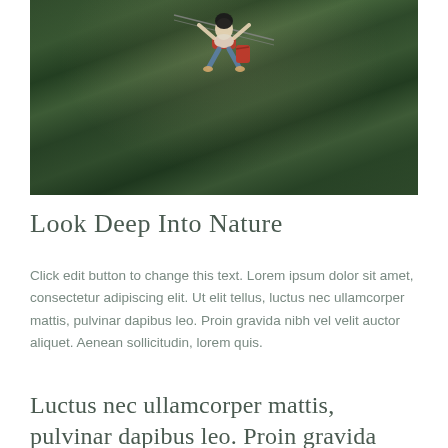[Figure (photo): A person zip-lining or on a swing over a lush tropical jungle/rainforest canopy with tall palm trees in the background. The person holds a red bag and is suspended in the air.]
Look Deep Into Nature
Click edit button to change this text. Lorem ipsum dolor sit amet, consectetur adipiscing elit. Ut elit tellus, luctus nec ullamcorper mattis, pulvinar dapibus leo. Proin gravida nibh vel velit auctor aliquet. Aenean sollicitudin, lorem quis.
Luctus nec ullamcorper mattis, pulvinar dapibus leo. Proin gravida nibh vel velit